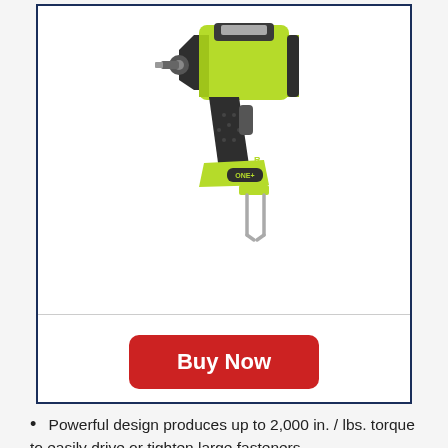[Figure (photo): RYOBI ONE+ 18V cordless impact driver/wrench tool in yellow-green and black color, shown at an angle against white background. The tool has a pistol-grip design with ONE+ branding on the battery compartment area, and has two metal wire prongs at the bottom.]
Buy Now
Powerful design produces up to 2,000 in. / lbs. torque to easily drive or tighten large fasteners